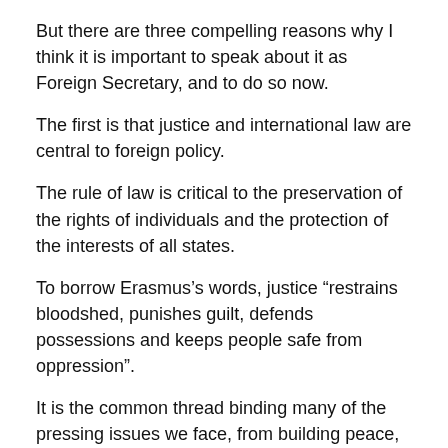But there are three compelling reasons why I think it is important to speak about it as Foreign Secretary, and to do so now.
The first is that justice and international law are central to foreign policy.
The rule of law is critical to the preservation of the rights of individuals and the protection of the interests of all states.
To borrow Erasmus’s words, justice “restrains bloodshed, punishes guilt, defends possessions and keeps people safe from oppression”.
It is the common thread binding many of the pressing issues we face, from building peace, widening democracy, and expanding free trade, to confronting terrorism while upholding the law and respecting human rights.
We have learnt from history that you cannot have lasting peace without justice, accountability and reconciliation.
The Arab Spring has shattered the idea that nations can maintain long-term stability and prosperity without human